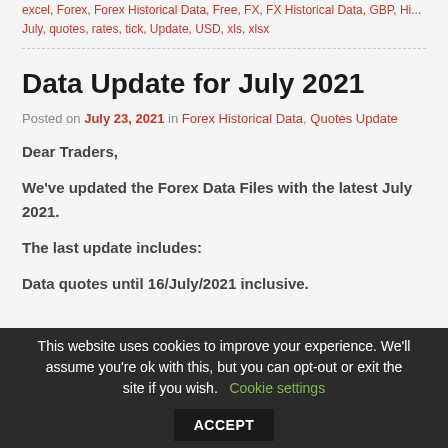excel, Forex, Forex Historical Data, Free, FX, FX Historical Data, GBP, Hi... July, quotes, rates, tick, Update, USD, xls, xlsx
Data Update for July 2021
Posted on July 23, 2021 in Forex Historical Data, Quotes Update
Dear Traders,
We've updated the Forex Data Files with the latest July 2021.
The last update includes:
Data quotes until 16/July/2021 inclusive.
This website uses cookies to improve your experience. We'll assume you're ok with this, but you can opt-out or exit the site if you wish. Cookie settings ACCEPT